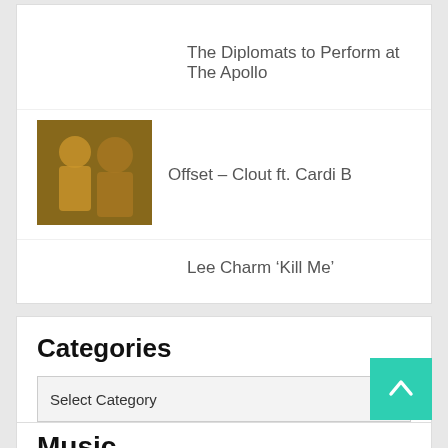The Diplomats to Perform at The Apollo
[Figure (photo): Thumbnail image of two people, warm golden-brown tones]
Offset – Clout ft. Cardi B
Lee Charm ‘Kill Me’
Categories
Select Category
Music